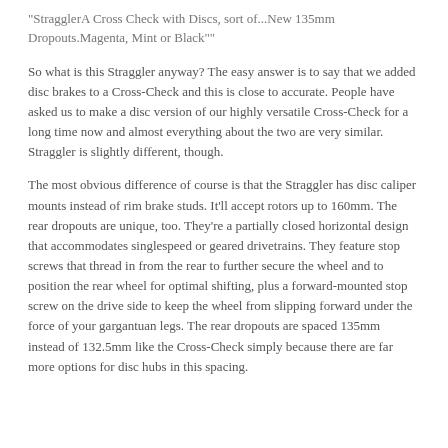"StragglerA Cross Check with Discs, sort of...New 135mm Dropouts.Magenta, Mint or Black""
So what is this Straggler anyway? The easy answer is to say that we added disc brakes to a Cross-Check and this is close to accurate. People have asked us to make a disc version of our highly versatile Cross-Check for a long time now and almost everything about the two are very similar. Straggler is slightly different, though.
The most obvious difference of course is that the Straggler has disc caliper mounts instead of rim brake studs. It'll accept rotors up to 160mm. The rear dropouts are unique, too. They're a partially closed horizontal design that accommodates singlespeed or geared drivetrains. They feature stop screws that thread in from the rear to further secure the wheel and to position the rear wheel for optimal shifting, plus a forward-mounted stop screw on the drive side to keep the wheel from slipping forward under the force of your gargantuan legs. The rear dropouts are spaced 135mm instead of 132.5mm like the Cross-Check simply because there are far more options for disc hubs in this spacing.